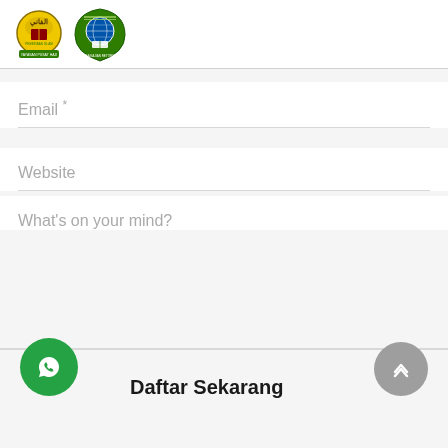[Figure (logo): Two organization logos: a yellow circle Islamic emblem and a green mosque/book emblem]
Email *
Website
What's on your mind?
Save my name, email, and website in this browser for the next time I comment.
Daftar Sekarang